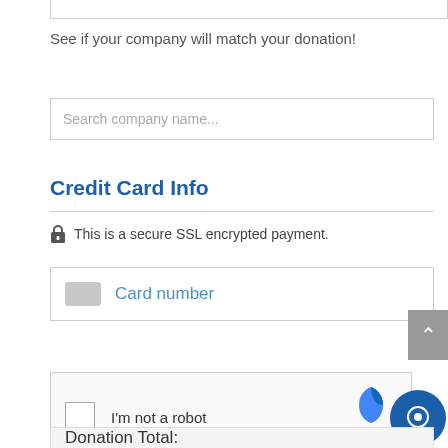See if your company will match your donation!
Search company name...
Credit Card Info
🔒 This is a secure SSL encrypted payment.
Card number
[Figure (other): reCAPTCHA widget with checkbox labeled I'm not a robot]
Donation Total: